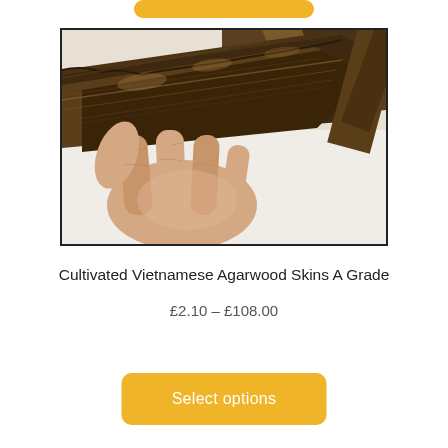[Figure (photo): A hand holding a piece of dark brown agarwood (oud wood) with layered, fibrous texture. Multiple pieces visible in background on white surface.]
Cultivated Vietnamese Agarwood Skins A Grade
£2.10 – £108.00
Select options